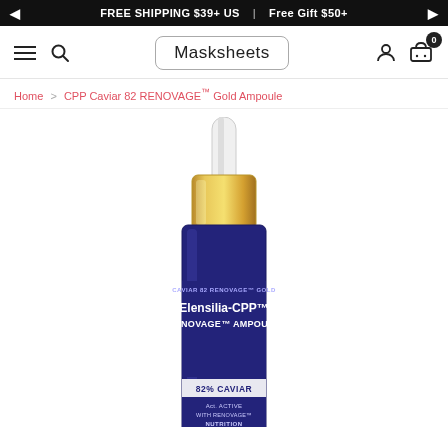FREE SHIPPING $39+ US | Free Gift $50+
[Figure (screenshot): Masksheets website navigation bar with hamburger menu, search icon, Masksheets logo, user account icon, and shopping cart with 0 items badge]
Home > CPP Caviar 82 RENOVAGE™ Gold Ampoule
[Figure (photo): Elensilia-CPP Caviar 82 RENOVAGE Gold Ampoule serum bottle — dark blue glass dropper bottle with gold dropper cap, white dropper tip, label reading: CAVIAR 82 RENOVAGE GOLD, Elensilia-CPP, RENOVAGE AMPOULE, 82% CAVIAR, ACTIVE WITH RENOVAGE, NUTRITION, YOUTH]